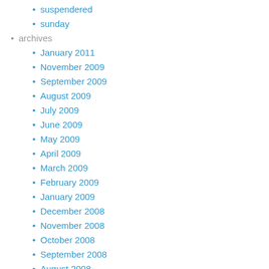suspendered
sunday
archives
January 2011
November 2009
September 2009
August 2009
July 2009
June 2009
May 2009
April 2009
March 2009
February 2009
January 2009
December 2008
November 2008
October 2008
September 2008
August 2008
July 2008